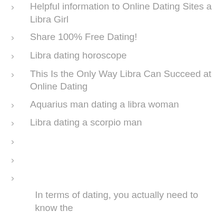Helpful information to Online Dating Sites a Libra Girl
Share 100% Free Dating!
Libra dating horoscope
This Is the Only Way Libra Can Succeed at Online Dating
Aquarius man dating a libra woman
Libra dating a scorpio man
In terms of dating, you actually need to know the